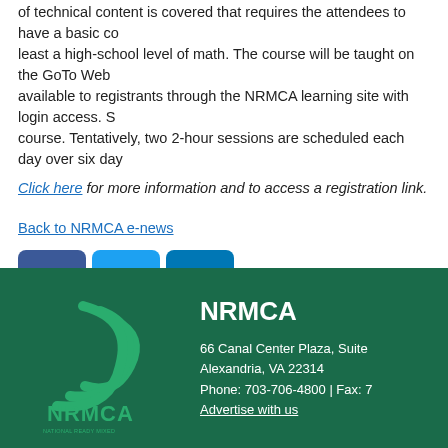of technical content is covered that requires the attendees to have a basic co... least a high-school level of math. The course will be taught on the GoTo Web... available to registrants through the NRMCA learning site with login access. S... course. Tentatively, two 2-hour sessions are scheduled each day over six day...
Click here for more information and to access a registration link.
Back to NRMCA e-news
[Figure (logo): Facebook, Twitter, and LinkedIn social media icons]
[Figure (logo): NRMCA logo - National Ready Mixed Concrete Association on green background]
NRMCA
66 Canal Center Plaza, Suite...
Alexandria, VA 22314
Phone: 703-706-4800 | Fax: 7...
Advertise with us